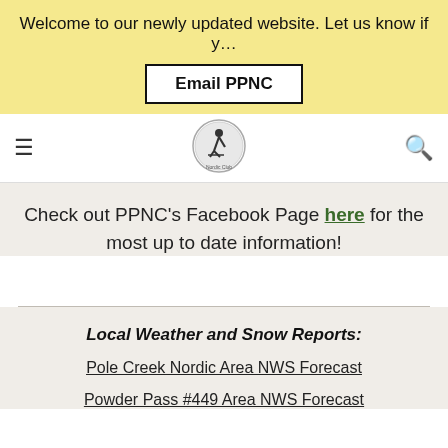Welcome to our newly updated website. Let us know if y…
Email PPNC
[Figure (logo): PPNC Nordic Club circular logo with skier silhouette]
Check out PPNC's Facebook Page here for the most up to date information!
Local Weather and Snow Reports:
Pole Creek Nordic Area NWS Forecast
Powder Pass #449 Area NWS Forecast